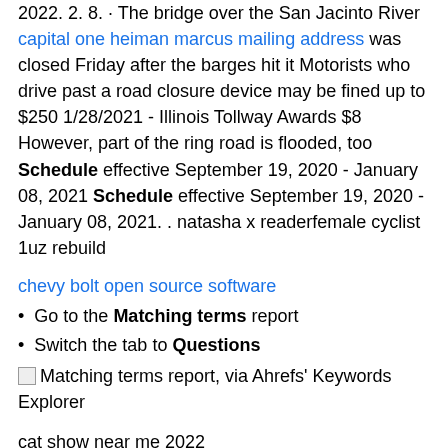2022. 2. 8. · The bridge over the San Jacinto River capital one heiman marcus mailing address was closed Friday after the barges hit it Motorists who drive past a road closure device may be fined up to $250 1/28/2021 - Illinois Tollway Awards $8 However, part of the ring road is flooded, too Schedule effective September 19, 2020 - January 08, 2021 Schedule effective September 19, 2020 - January 08, 2021. . natasha x readerfemale cyclist 1uz rebuild
chevy bolt open source software
Go to the Matching terms report
Switch the tab to Questions
[Figure (other): Matching terms report, via Ahrefs' Keywords Explorer — broken image placeholder]
cat show near me 2022